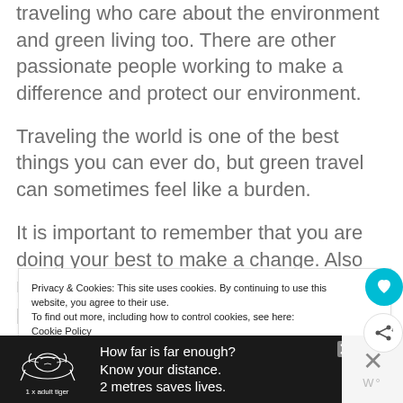traveling who care about the environment and green living too. There are other passionate people working to make a difference and protect our environment.
Traveling the world is one of the best things you can ever do, but green travel can sometimes feel like a burden.
It is important to remember that you are doing your best to make a change. Also remember to enjoy the moment and the place...
Privacy & Cookies: This site uses cookies. By continuing to use this website, you agree to their use.
To find out more, including how to control cookies, see here:
Cookie Policy
[Figure (infographic): Advertisement banner: black background with white tiger illustration, text 'How far is far enough? Know your distance. 2 metres saves lives. 1 x adult tiger'. Close button visible.]